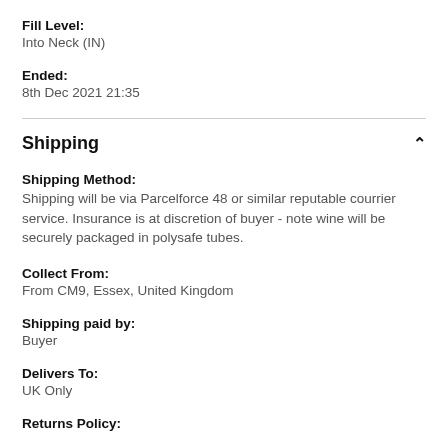Fill Level:
Into Neck (IN)
Ended:
8th Dec 2021 21:35
Shipping
Shipping Method:
Shipping will be via Parcelforce 48 or similar reputable courrier service. Insurance is at discretion of buyer - note wine will be securely packaged in polysafe tubes.
Collect From:
From CM9, Essex, United Kingdom
Shipping paid by:
Buyer
Delivers To:
UK Only
Returns Policy: